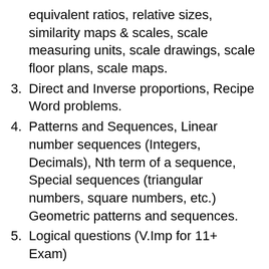equivalent ratios, relative sizes, similarity maps & scales, scale measuring units, scale drawings, scale floor plans, scale maps.
3. Direct and Inverse proportions, Recipe Word problems.
4. Patterns and Sequences, Linear number sequences (Integers, Decimals), Nth term of a sequence, Special sequences (triangular numbers, square numbers, etc.) Geometric patterns and sequences.
5. Logical questions (V.Imp for 11+ Exam)
11+ Ratios, Measurement